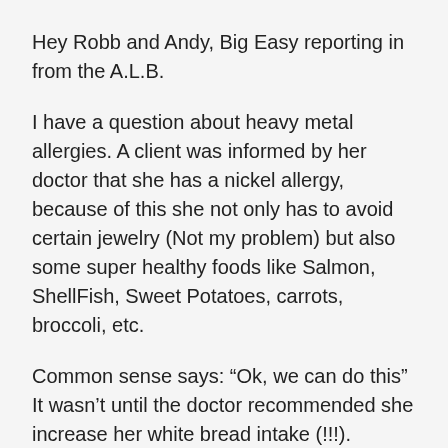Hey Robb and Andy, Big Easy reporting in from the A.L.B.
I have a question about heavy metal allergies. A client was informed by her doctor that she has a nickel allergy, because of this she not only has to avoid certain jewelry (Not my problem) but also some super healthy foods like Salmon, ShellFish, Sweet Potatoes, carrots, broccoli, etc.
Common sense says: “Ok, we can do this” It wasn’t until the doctor recommended she increase her white bread intake (!!!).
My Question is can we expect to see her